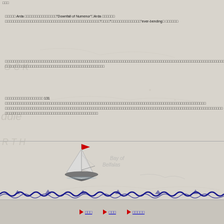□□□
□□□□□ Arda □□□□□□□□□□□□□□□"Downfall of Numenor"□Arda □□□□□□□□□□□□□□□□□□□□□□□□□□□□□□□□□□□□□□□□□□□□"□□□□"□□□□□□□□□□□□□□"ever-bending□□□□□□
□□□□□□□□□□□□□□□□□□□□□□□□□□□□□□□□□□□□□□□□□□□□□□□□□□□□□□□□□□□□□□□□□□□□□□□□□□□□□□□□□□□□□□□□□□□□□□□□□□□□□□□□□□□□□□□□□□□□
□□□□□□□□□□□□□□□□□□ 131 □□□□□□□□□□□□□□□□□□□□□□□□□□□□□□□□□□□□□□□□□□□□□□□□□□□□□□□□□□□□□□□□□□□□□□□□□□□□□□□□□□□□□□□□□□□□□□□□□□□□□□□□□□□□□
[Figure (illustration): A sailing boat with a red flag on mast, white sails, on water]
[Figure (illustration): Decorative wave border in dark blue]
▶ □□□   ▶ □□□   ▶ □□□□□